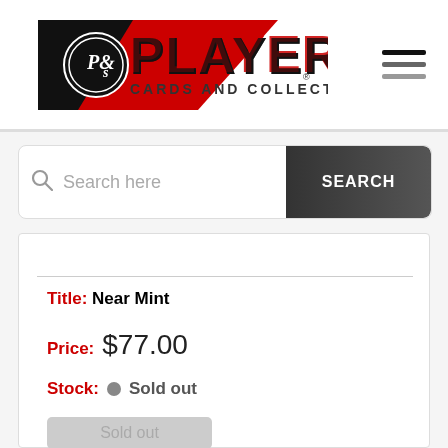[Figure (logo): Players Cards and Collectibles logo — red pennant shape with P&S emblem, bold PLAYERS text, and CARDS AND COLLECTIBLES subtitle]
Search here
SEARCH
Title: Near Mint
Price: $77.00
Stock: Sold out
Sold out